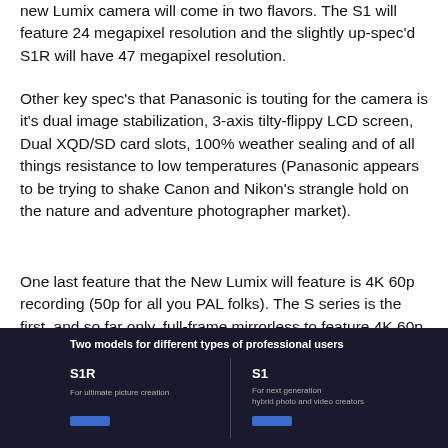new Lumix camera will come in two flavors. The S1 will feature 24 megapixel resolution and the slightly up-spec'd S1R will have 47 megapixel resolution.
Other key spec's that Panasonic is touting for the camera is it's dual image stabilization, 3-axis tilty-flippy LCD screen, Dual XQD/SD card slots, 100% weather sealing and of all things resistance to low temperatures (Panasonic appears to be trying to shake Canon and Nikon's strangle hold on the nature and adventure photographer market).
One last feature that the New Lumix will feature is 4K 60p recording (50p for all you PAL folks). The S series is the first, and so far only, full-frame mirrorless to feature 4K 60p recording. THE WAIT IS FINALLY OVER!
[Figure (infographic): Dark background infographic showing two Panasonic Lumix S series models: S1R (For ultimate picture creation) and S1 (For next generation hybrid photo and video creators), with blue bar indicators under each model name.]